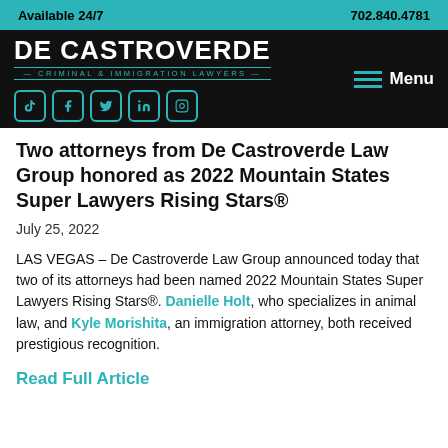Available 24/7    702.840.4781
[Figure (logo): De Castroverde Criminal & Immigration Lawyers logo with social media icons (TikTok, Facebook, Twitter, LinkedIn, Instagram) on dark background, with Menu button]
Two attorneys from De Castroverde Law Group honored as 2022 Mountain States Super Lawyers Rising Stars®
July 25, 2022
LAS VEGAS – De Castroverde Law Group announced today that two of its attorneys had been named 2022 Mountain States Super Lawyers Rising Stars®. Danielle Holt, who specializes in animal law, and Kyle Morishita, an immigration attorney, both received prestigious recognition.
Read Full Article